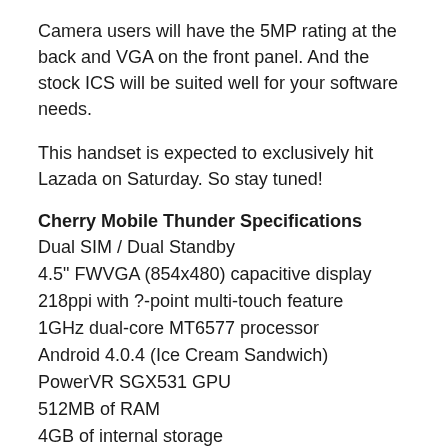Camera users will have the 5MP rating at the back and VGA on the front panel. And the stock ICS will be suited well for your software needs.
This handset is expected to exclusively hit Lazada on Saturday. So stay tuned!
Cherry Mobile Thunder Specifications
Dual SIM / Dual Standby
4.5" FWVGA (854x480) capacitive display
218ppi with ?-point multi-touch feature
1GHz dual-core MT6577 processor
Android 4.0.4 (Ice Cream Sandwich)
PowerVR SGX531 GPU
512MB of RAM
4GB of internal storage
microSD support up to 32GB